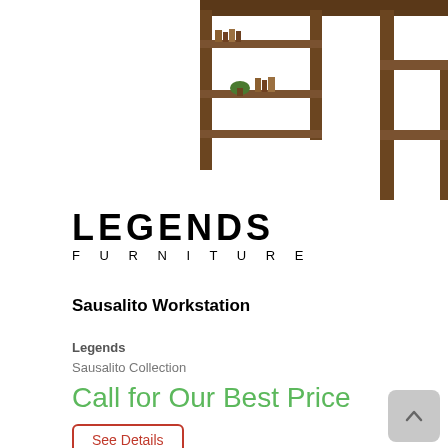[Figure (photo): Partial photo of a Sausalito Workstation desk with shelves, shown from mid-section, dark walnut wood finish, top portion of the image cropped.]
[Figure (logo): Legends Furniture logo — LEGENDS in large bold letters, FURNITURE in small spaced letters beneath.]
Sausalito Workstation
Legends
Sausalito Collection
Call for Our Best Price
See Details